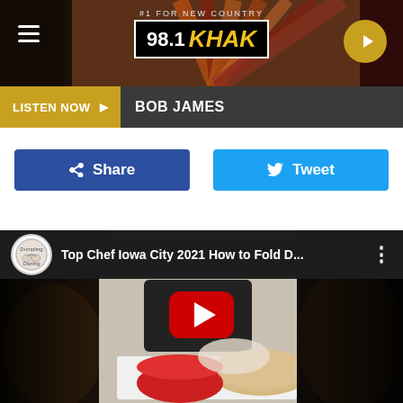[Figure (screenshot): 98.1 KHAK radio station website header banner with hamburger menu, logo, and play button]
LISTEN NOW ▶  BOB JAMES
[Figure (screenshot): Facebook Share button and Twitter Tweet button]
[Figure (screenshot): YouTube embedded video: Top Chef Iowa City 2021 How to Fold D... by Dumpling Darling channel, showing woman folding dumplings with red bowl and dumpling wrappers]